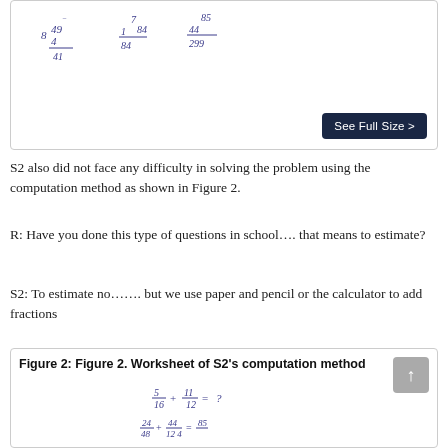[Figure (photo): Top portion of a worksheet showing handwritten fraction computation work, partially cut off at top. Shows handwritten division-style calculations with fractions.]
S2 also did not face any difficulty in solving the problem using the computation method as shown in Figure 2.
R: Have you done this type of questions in school…. that means to estimate?
S2: To estimate no……. but we use paper and pencil or the calculator to add fractions
Figure 2: Figure 2. Worksheet of S2's computation method
[Figure (photo): Bottom portion showing Figure 2 worksheet of S2's computation method with handwritten fraction calculations including 5/16 + 11/12 = ? and subsequent computation steps.]